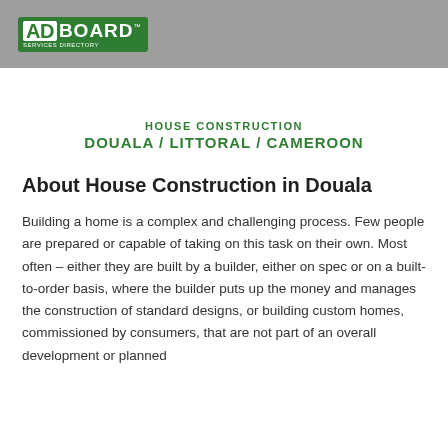ADBOARD SERVICES DIRECTORY
HOUSE CONSTRUCTION
DOUALA / LITTORAL / CAMEROON
About House Construction in Douala
Building a home is a complex and challenging process. Few people are prepared or capable of taking on this task on their own. Most often – either they are built by a builder, either on spec or on a built-to-order basis, where the builder puts up the money and manages the construction of standard designs, or building custom homes, commissioned by consumers, that are not part of an overall development or planned